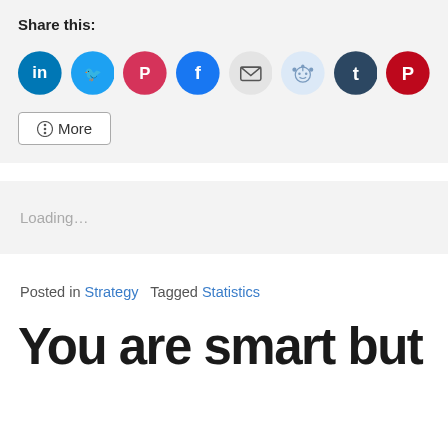Share this:
[Figure (infographic): Row of circular social media share buttons: LinkedIn (blue), Twitter (light blue), Pocket (red), Facebook (blue), Email (light gray), Reddit (pale blue), Tumblr (dark navy), Pinterest (red)]
[Figure (infographic): A 'More' button with a share icon, rectangular with border]
Loading...
Posted in Strategy   Tagged Statistics
You are smart but